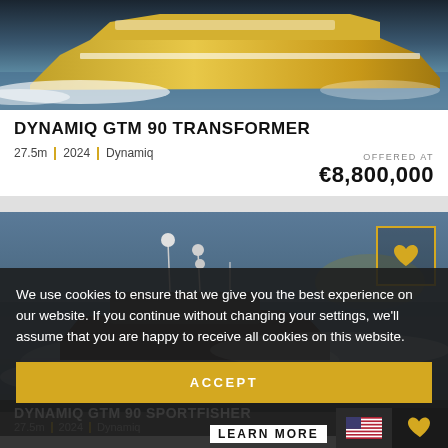[Figure (photo): Aerial view of Dynamiq GTM 90 Transformer yacht speeding on water with white wake, gold/beige hull]
DYNAMIQ GTM 90 TRANSFORMER
27.5m | 2024 | Dynamiq
OFFERED AT €8,800,000
[Figure (photo): Dynamiq GTM 90 Sportfisher yacht on open sea with antennas, seen from behind/side, island in background]
We use cookies to ensure that we give you the best experience on our website. If you continue without changing your settings, we'll assume that you are happy to receive all cookies on this website.
ACCEPT
DYNAMIQ GTM 90 SPORTFISHER
27.5m | 2024 | Dynamiq
LEARN MORE